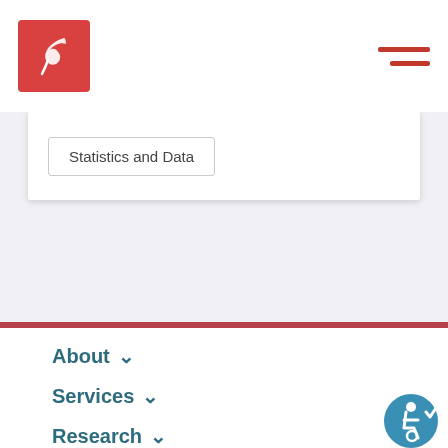[Figure (logo): Organization logo: red square with white bird/leaf icon]
[Figure (other): Hamburger menu icon: two red horizontal lines]
Statistics and Data
About
Services
Research
Databases
[Figure (other): Accessibility icon: blue circle with wheelchair symbol and checkmark]